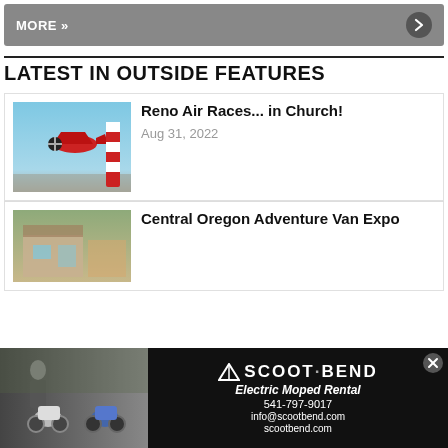MORE »
LATEST IN OUTSIDE FEATURES
[Figure (photo): Red racing plane flying low with a red and white striped pylon in the background, blue sky]
Reno Air Races... in Church!
Aug 31, 2022
[Figure (photo): Interior/exterior shot of a van or cabin building]
Central Oregon Adventure Van Expo
[Figure (photo): Advertisement for Scoot Bend Electric Moped Rental showing two scooters and a person, with text: SCOOT·BEND, Electric Moped Rental, 541-797-9017, info@scootbend.com, scootbend.com]